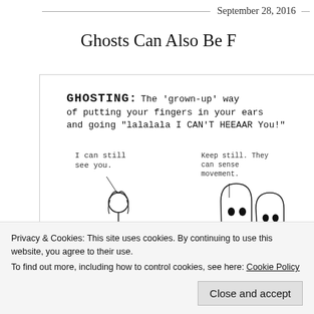September 28, 2016
Ghosts Can Also Be F…
[Figure (illustration): A hand-drawn comic about 'ghosting'. Top text reads: GHOSTING: The 'grown-up' way of putting your fingers in your ears and going "lalalala I CAN'T HEEAAR You!" Below shows a person saying 'I can still see you.' and two ghost figures with one saying 'Keep still. They can sense movement.']
Privacy & Cookies: This site uses cookies. By continuing to use this website, you agree to their use.
To find out more, including how to control cookies, see here: Cookie Policy
Close and accept